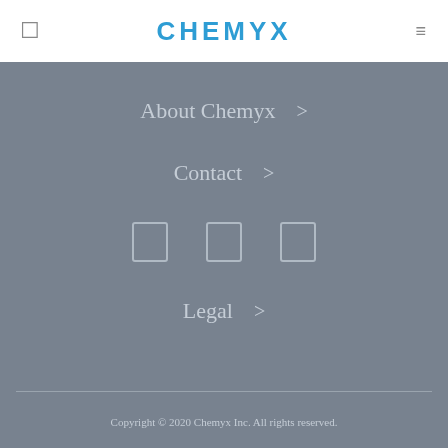CHEMYX
About Chemyx >
Contact >
Legal >
Copyright © 2020 Chemyx Inc. All rights reserved.